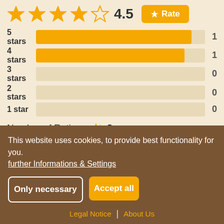[Figure (bar-chart): Rating distribution]
Number of Ratings: 2
This website uses cookies, to provide best functionality for you.
further Informations & Settings
Only necessary
Accept all
Legal Notice | About Us